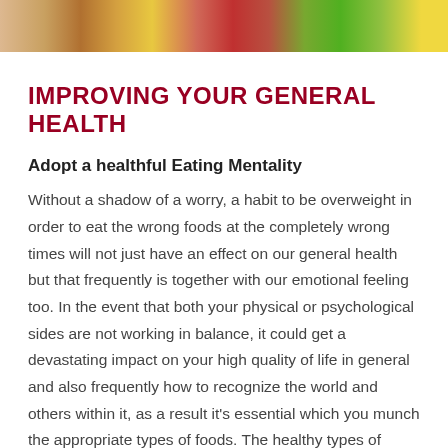[Figure (photo): Color photo strip at top of page showing people with food items, health-related imagery with warm tones.]
IMPROVING YOUR GENERAL HEALTH
Adopt a healthful Eating Mentality
Without a shadow of a worry, a habit to be overweight in order to eat the wrong foods at the completely wrong times will not just have an effect on our general health but that frequently is together with our emotional feeling too. In the event that both your physical or psychological sides are not working in balance, it could get a devastating impact on your high quality of life in general and also frequently how to recognize the world and others within it, as a result it's essential which you munch the appropriate types of foods. The healthy types of carbohydrates, fresh